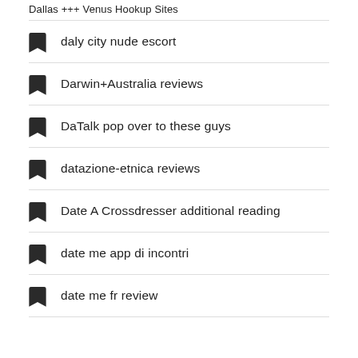Dallas +++ Venus Hookup Sites
daly city nude escort
Darwin+Australia reviews
DaTalk pop over to these guys
datazione-etnica reviews
Date A Crossdresser additional reading
date me app di incontri
date me fr review